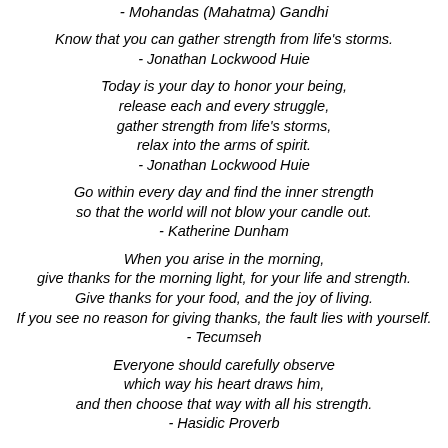- Mohandas (Mahatma) Gandhi
Know that you can gather strength from life's storms.
- Jonathan Lockwood Huie
Today is your day to honor your being,
release each and every struggle,
gather strength from life's storms,
relax into the arms of spirit.
- Jonathan Lockwood Huie
Go within every day and find the inner strength
so that the world will not blow your candle out.
- Katherine Dunham
When you arise in the morning,
give thanks for the morning light, for your life and strength.
Give thanks for your food, and the joy of living.
If you see no reason for giving thanks, the fault lies with yourself.
- Tecumseh
Everyone should carefully observe
which way his heart draws him,
and then choose that way with all his strength.
- Hasidic Proverb